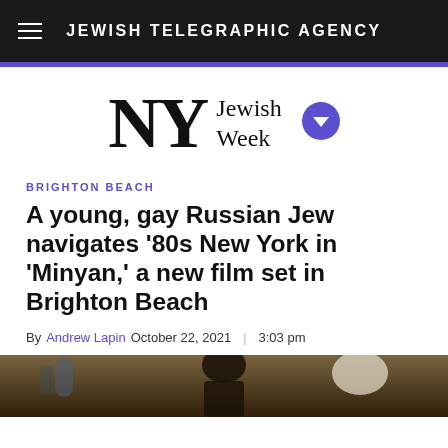JEWISH TELEGRAPHIC AGENCY
[Figure (logo): NY Jewish Week logo with purple badge/dropdown icon]
BRIGHTON BEACH
A young, gay Russian Jew navigates '80s New York in 'Minyan,' a new film set in Brighton Beach
By Andrew Lapin October 22, 2021 | 3:03 pm
[Figure (photo): Partial photo at bottom of page showing interior scene, possibly a synagogue]